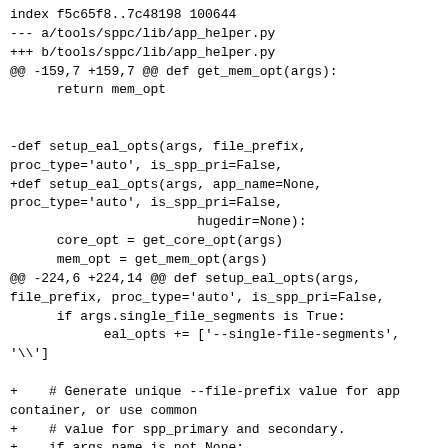index f5c65f8..7c48198 100644
--- a/tools/sppc/lib/app_helper.py
+++ b/tools/sppc/lib/app_helper.py
@@ -159,7 +159,7 @@ def get_mem_opt(args):
        return mem_opt


-def setup_eal_opts(args, file_prefix,
proc_type='auto', is_spp_pri=False,
+def setup_eal_opts(args, app_name=None,
proc_type='auto', is_spp_pri=False,
                        hugedir=None):
        core_opt = get_core_opt(args)
        mem_opt = get_mem_opt(args)
@@ -224,6 +224,14 @@ def setup_eal_opts(args,
file_prefix, proc_type='auto', is_spp_pri=False,
        if args.single_file_segments is True:
                eal_opts += ['--single-file-segments', '\\']

+    # Generate unique --file-prefix value for app container, or use common
+    # value for spp_primary and secondary.
+    if args.name is not None:
+        file_prefix = _gen_sppc_file_prefix(args.name)
+    elif app_name is not None and app_name.__class__ is str:
+        file_prefix = _gen_sppc_file_prefix(app_name)
+    else:
+        file_prefix = common.SPPC_FILE_PREFIX
        eal_opts += [